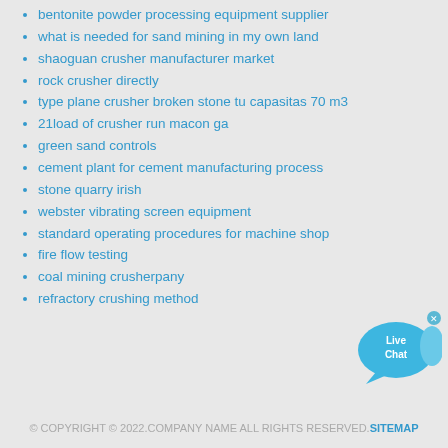bentonite powder processing equipment supplier
what is needed for sand mining in my own land
shaoguan crusher manufacturer market
rock crusher directly
type plane crusher broken stone tu capasitas 70 m3
21load of crusher run macon ga
green sand controls
cement plant for cement manufacturing process
stone quarry irish
webster vibrating screen equipment
standard operating procedures for machine shop
fire flow testing
coal mining crusherpany
refractory crushing method
[Figure (illustration): Live Chat button with speech bubble icon and close (x) button in upper right corner]
© COPYRIGHT © 2022.COMPANY NAME ALL RIGHTS RESERVED.SITEMAP